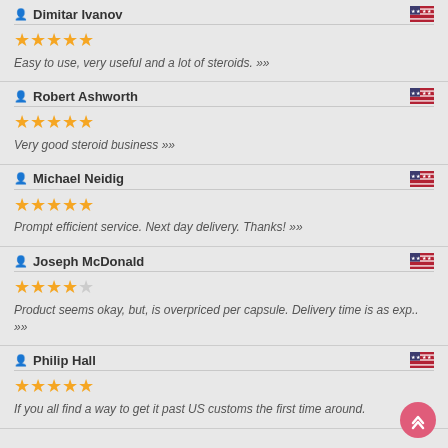Dimitar Ivanov
★★★★★
Easy to use, very useful and a lot of steroids. >>>
Robert Ashworth
★★★★★
Very good steroid business >>>
Michael Neidig
★★★★★
Prompt efficient service. Next day delivery. Thanks! >>>
Joseph McDonald
★★★★☆
Product seems okay, but, is overpriced per capsule. Delivery time is as exp.. >>>
Philip Hall
★★★★★
If you all find a way to get it past US customs the first time around.